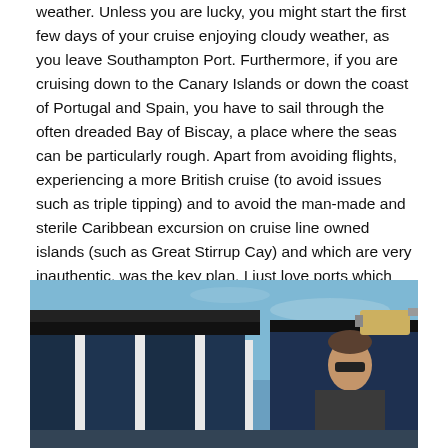weather. Unless you are lucky, you might start the first few days of your cruise enjoying cloudy weather, as you leave Southampton Port. Furthermore, if you are cruising down to the Canary Islands or down the coast of Portugal and Spain, you have to sail through the often dreaded Bay of Biscay, a place where the seas can be particularly rough. Apart from avoiding flights, experiencing a more British cruise (to avoid issues such as triple tipping) and to avoid the man-made and sterile Caribbean excursion on cruise line owned islands (such as Great Stirrup Cay) and which are very inauthentic, was the key plan. I just love ports which are real places and even if they are touristy (we are all tourists), I love to see real locals in these places.
[Figure (photo): Outdoor photo showing a blue sky with a building structure featuring white vertical columns and dark blue panels on the left, and a person wearing sunglasses visible on the right side.]